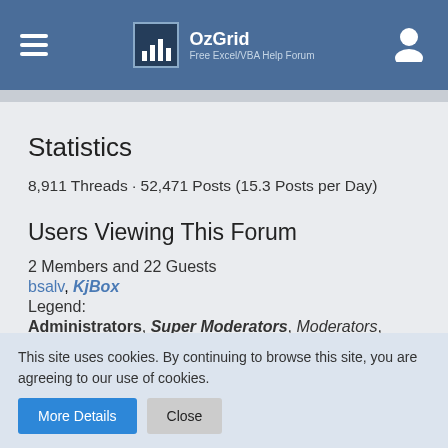OzGrid — Free Excel/VBA Help Forum
Statistics
8,911 Threads · 52,471 Posts (15.3 Posts per Day)
Users Viewing This Forum
2 Members and 22 Guests
bsalv, KjBox
Legend:
Administrators, Super Moderators, Moderators,
This site uses cookies. By continuing to browse this site, you are agreeing to our use of cookies.